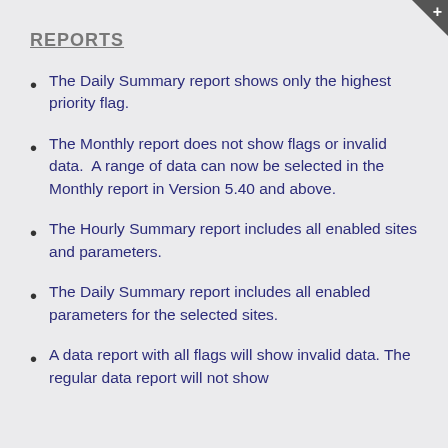REPORTS
The Daily Summary report shows only the highest priority flag.
The Monthly report does not show flags or invalid data.  A range of data can now be selected in the Monthly report in Version 5.40 and above.
The Hourly Summary report includes all enabled sites and parameters.
The Daily Summary report includes all enabled parameters for the selected sites.
A data report with all flags will show invalid data. The regular data report will not show